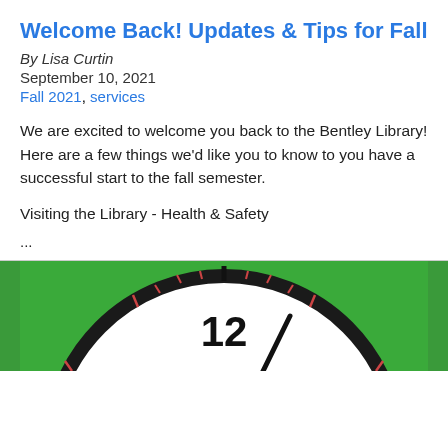Welcome Back! Updates & Tips for Fall
By Lisa Curtin
September 10, 2021
Fall 2021, services
We are excited to welcome you back to the Bentley Library! Here are a few things we'd like you to know to you have a successful start to the fall semester.
Visiting the Library - Health & Safety
...
[Figure (photo): Top portion of a clock face showing the number 12 and tick marks, photographed against a green background.]